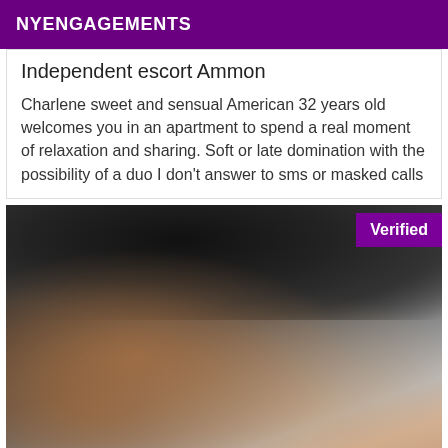NYENGAGEMENTS
Independent escort Ammon
Charlene sweet and sensual American 32 years old welcomes you in an apartment to spend a real moment of relaxation and sharing. Soft or late domination with the possibility of a duo I don't answer to sms or masked calls
[Figure (photo): Close-up photo of a person, with a 'Verified' badge in the top right corner]